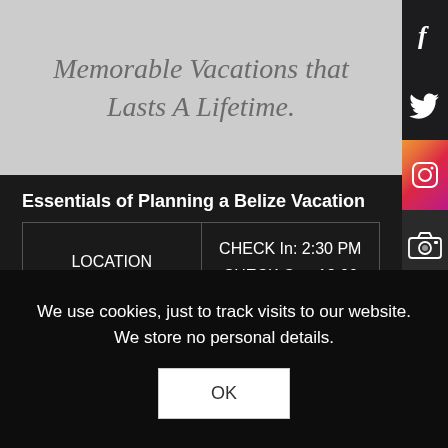Memorable Vacations that Lasts A Lifetime.
[Figure (other): Social media sidebar icons: Facebook, Twitter, Instagram, Camera/Flickr, YouTube, Apple]
Essentials of Planning a Belize Vacation
| LOCATION | CHECK In: 2:30 PM
CHECK Out: 12:00 |
We use cookies, just to track visits to our website. We store no personal details.
OK